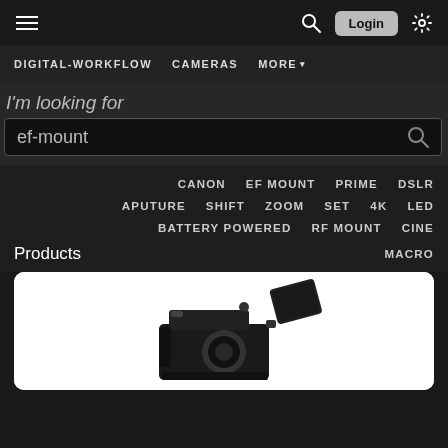≡  🔍  Login  ⚙
DIGITAL-WORKFLOW   CAMERAS   MORE ▾
I'm looking for
ef-mount
CANON   EF MOUNT   PRIME   DSLR
APUTURE   SHIFT   ZOOM   SET   4K   LED
BATTERY POWERED   RF MOUNT   CINE
Products
MACRO
[Figure (photo): Camera product photo showing a black camera body with a flip-out screen, partially visible on a white background]